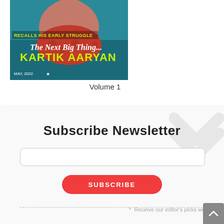[Figure (photo): Magazine cover showing a person with text 'RECALLS HIS EARLY STRUGGLE', 'The Next Big Thing', 'KARTIK AARYAN', 'MAY, 2022']
Volume 1
Subscribe Newsletter
* Receive our editor's picks weekly